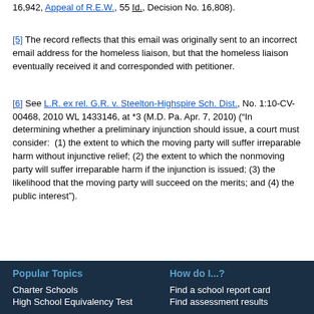16,942, Appeal of R.E.W., 55 Id., Decision No. 16,808).
[5] The record reflects that this email was originally sent to an incorrect email address for the homeless liaison, but that the homeless liaison eventually received it and corresponded with petitioner.
[6] See L.R. ex rel. G.R. v. Steelton-Highspire Sch. Dist., No. 1:10-CV-00468, 2010 WL 1433146, at *3 (M.D. Pa. Apr. 7, 2010) (“In determining whether a preliminary injunction should issue, a court must consider: (1) the extent to which the moving party will suffer irreparable harm without injunctive relief; (2) the extent to which the nonmoving party will suffer irreparable harm if the injunction is issued; (3) the likelihood that the moving party will succeed on the merits; and (4) the public interest”).
Popular Topics
How do I...?
Charter Schools
Find a school report card
High School Equivalency Test
Find assessment results